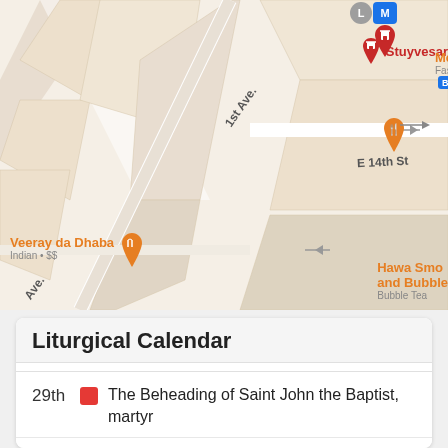[Figure (map): Google Maps screenshot showing area around 1st Ave and E 14th St with restaurant and business pins: McDonald's (Fast Food, $), Veeray da Dhaba (Indian, $$), Ichibantei (Japanese, $), Tallgrass Burger (Hamburger, $$), Flea Market, Hawa Smo and Bubble (Bubble Tea), Trader Joe's, Domino's (Pizza Del), Stuyvesant (hotel/place). Street labels include 1st Ave, E 14th St, Ave.]
Liturgical Calendar
29th — The Beheading of Saint John the Baptist, martyr
30th — Tuesday, 22nd week in Ordinary Time